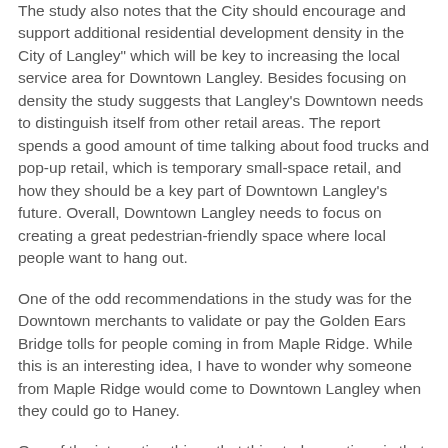The study also notes that the City should encourage and support additional residential development density in the City of Langley" which will be key to increasing the local service area for Downtown Langley. Besides focusing on density the study suggests that Langley's Downtown needs to distinguish itself from other retail areas. The report spends a good amount of time talking about food trucks and pop-up retail, which is temporary small-space retail, and how they should be a key part of Downtown Langley's future. Overall, Downtown Langley needs to focus on creating a great pedestrian-friendly space where local people want to hang out.
One of the odd recommendations in the study was for the Downtown merchants to validate or pay the Golden Ears Bridge tolls for people coming in from Maple Ridge. While this is an interesting idea, I have to wonder why someone from Maple Ridge would come to Downtown Langley when they could go to Haney.
One of the interesting things that this study mentions is that Willowbrook Mall will likely be expanding to add a high-street as well as mixed-use. TransLink is also planning on building